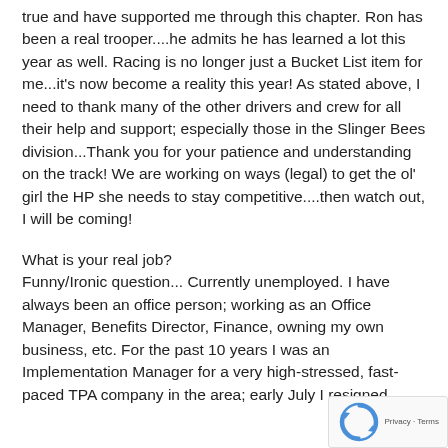true and have supported me through this chapter. Ron has been a real trooper....he admits he has learned a lot this year as well. Racing is no longer just a Bucket List item for me...it's now become a reality this year! As stated above, I need to thank many of the other drivers and crew for all their help and support; especially those in the Slinger Bees division...Thank you for your patience and understanding on the track! We are working on ways (legal) to get the ol' girl the HP she needs to stay competitive....then watch out, I will be coming!
What is your real job?
Funny/Ironic question... Currently unemployed. I have always been an office person; working as an Office Manager, Benefits Director, Finance, owning my own business, etc. For the past 10 years I was an Implementation Manager for a very high-stressed, fast-paced TPA company in the area; early July I resigned. Now that I have taken some personal time off I...
[Figure (other): reCAPTCHA widget with rotating arrows icon and 'Privacy - Terms' text]